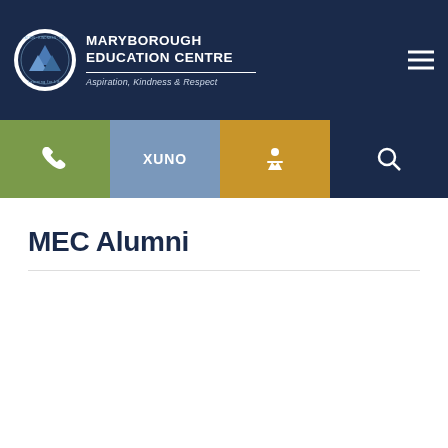MARYBOROUGH EDUCATION CENTRE — Aspiration, Kindness & Respect
[Figure (logo): Maryborough Education Centre circular logo with school crest on white background]
MEC Alumni